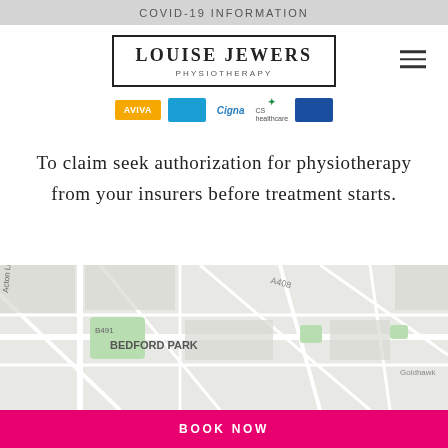COVID-19 INFORMATION
LOUISE JEWERS PHYSIOTHERAPY
[Figure (logo): Insurance company logos strip: Aviva (yellow), blue rectangle, Cigna (blue italic), CS Healthcare (green icon with text), blue rectangle]
To claim seek authorization for physiotherapy from your insurers before treatment starts.
[Figure (map): Street map showing Bedford Park area with B491 road label, Acton Lane, Goldhawk Road visible]
BOOK NOW